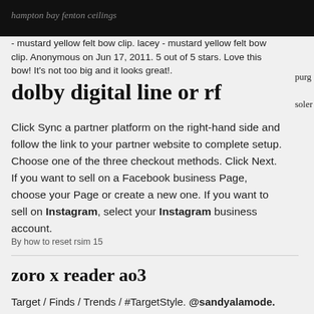hampton bay fenton ceilings
- mustard yellow felt bow clip. lacey - mustard yellow felt bow clip. Anonymous on Jun 17, 2011. 5 out of 5 stars. Love this bow! It's not too big and it looks great!.
dolby digital line or rf
Click Sync a partner platform on the right-hand side and follow the link to your partner website to complete setup. Choose one of the three checkout methods. Click Next. If you want to sell on a Facebook business Page, choose your Page or create a new one. If you want to sell on Instagram, select your Instagram business account.
By how to reset rsim 15
zoro x reader ao3
Target / Finds / Trends / #TargetStyle. @sandyalamode. Women's Crewneck Pullover Sweater - A New Day™ Black Striped XS. $23.79. Athleisure Soft Tote Handbag - A New Day™ Caramel. $30.00.
By duracell rechargeable batteries